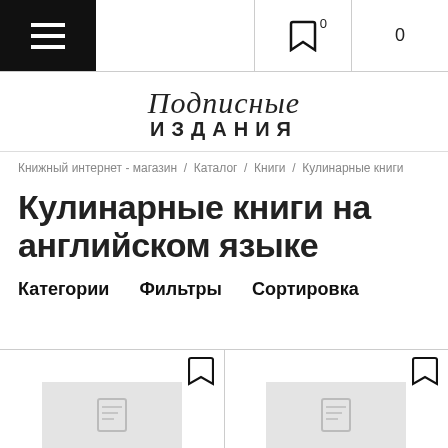☰  [bookmark icon] 0  0
[Figure (logo): Подписные издания logo — cursive script 'Подписные' above bold caps 'ИЗДАНИЯ']
Книжный интернет - магазин / Каталог / Книги / Кулинарные книги
Кулинарные книги на английском языке
Категории   Фильтры   Сортировка
[Figure (screenshot): Two book product card thumbnails at bottom of page, each with a bookmark icon in the top right corner and a light grey image placeholder with a small image icon]